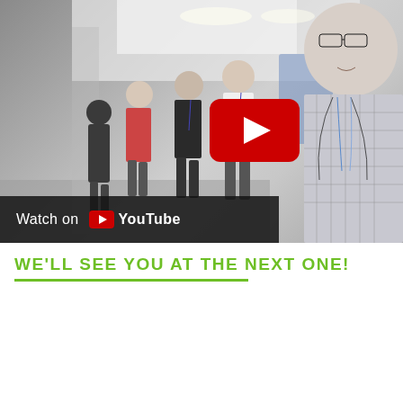[Figure (screenshot): YouTube video thumbnail showing a conference hallway scene with people walking, a person in a checkered shirt in the foreground, and a YouTube play button overlay. A 'Watch on YouTube' bar is shown at the bottom left of the thumbnail.]
WE'LL SEE YOU AT THE NEXT ONE!
[Figure (screenshot): YouTube video thumbnail for the 2019 ANZCA Annual Scientific Meeting in Kuala Lumpur. Shows ANZCA logo circle on left, text 'Join us in KL for the 2019 ANZCA Annual S...' and a purple background with a city skyline silhouette.]